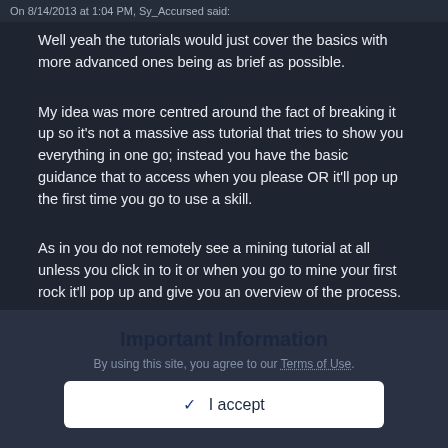On 8/14/2013 at 1:04 PM, Sy_Accursed said:
Well yeah the tutorials would just cover the basics with more advanced ones being as brief as possible.
My idea was more centred around the fact of breaking it up so it's not a massive ass tutorial that tries to show you everything in one go; instead you have the basic guidance that to access when you please OR it'll pop up the first time you go to use a skill.
As in you do not remotely see a mining tutorial at all unless you click in to it or when you go to mine your first rock it'll pop up and give you an overview of the process.
Important Information
By using this site, you agree to our Terms of Use.
✓  I accept